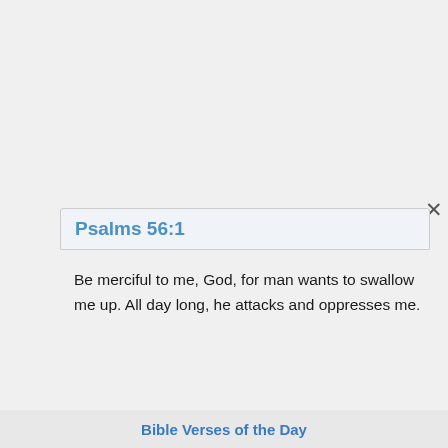Psalms 56:1
Be merciful to me, God, for man wants to swallow me up. All day long, he attacks and oppresses me.
Psalms 57:1
Be merciful to me, God, be merciful to me, for my soul takes refuge in you. Yes, in the shadow of your wings, I will take refuge, until disaster has
Bible Verses of the Day